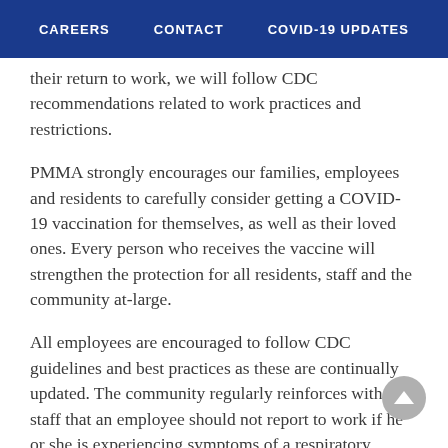CAREERS   CONTACT   COVID-19 UPDATES
their return to work, we will follow CDC recommendations related to work practices and restrictions.
PMMA strongly encourages our families, employees and residents to carefully consider getting a COVID-19 vaccination for themselves, as well as their loved ones. Every person who receives the vaccine will strengthen the protection for all residents, staff and the community at-large.
All employees are encouraged to follow CDC guidelines and best practices as these are continually updated. The community regularly reinforces with all staff that an employee should not report to work if he or she is experiencing symptoms of a respiratory illness